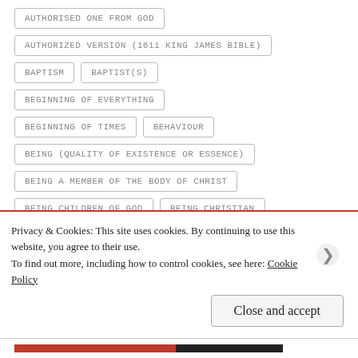AUTHORISED ONE FROM GOD
AUTHORIZED VERSION (1611 KING JAMES BIBLE)
BAPTISM
BAPTIST(S)
BEGINNING OF EVERYTHING
BEGINNING OF TIMES
BEHAVIOUR
BEING (QUALITY OF EXISTENCE OR ESSENCE)
BEING A MEMBER OF THE BODY OF CHRIST
BEING CHILDREN OF GOD
BEING CHRISTIAN
Privacy & Cookies: This site uses cookies. By continuing to use this website, you agree to their use.
To find out more, including how to control cookies, see here: Cookie Policy
Close and accept